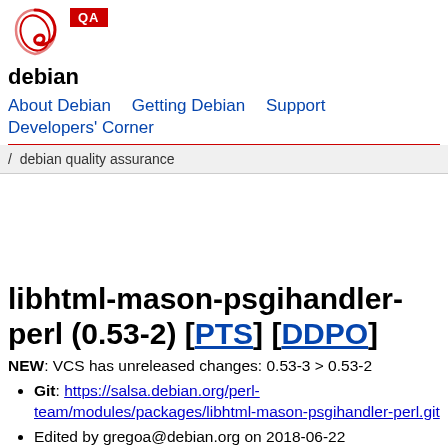[Figure (logo): Debian swirl logo in red and white]
QA
debian
About Debian   Getting Debian   Support   Developers' Corner
/ debian quality assurance
libhtml-mason-psgihandler-perl (0.53-2) [PTS] [DDPO]
NEW: VCS has unreleased changes: 0.53-3 > 0.53-2
Git: https://salsa.debian.org/perl-team/modules/packages/libhtml-mason-psgihandler-perl.git
Edited by gregoa@debian.org on 2018-06-22 23:37:13.245953+00
Branch: master
Path: debian/changelog
Browser: https://salsa.debian.org/perl-